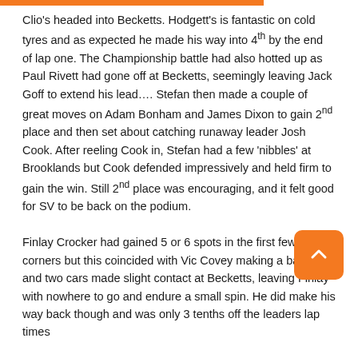Clio's headed into Becketts. Hodgett's is fantastic on cold tyres and as expected he made his way into 4th by the end of lap one. The Championship battle had also hotted up as Paul Rivett had gone off at Becketts, seemingly leaving Jack Goff to extend his lead…. Stefan then made a couple of great moves on Adam Bonham and James Dixon to gain 2nd place and then set about catching runaway leader Josh Cook. After reeling Cook in, Stefan had a few 'nibbles' at Brooklands but Cook defended impressively and held firm to gain the win. Still 2nd place was encouraging, and it felt good for SV to be back on the podium.

Finlay Crocker had gained 5 or 6 spots in the first few corners but this coincided with Vic Covey making a bad start and two cars made slight contact at Becketts, leaving Finlay with nowhere to go and endure a small spin. He did make his way back though and was only 3 tenths off the leaders lap times